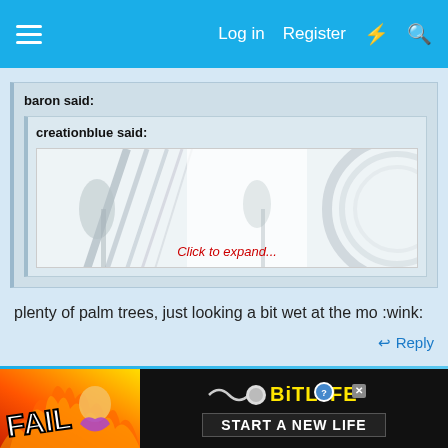Log in  Register
baron said:
creationblue said:
[Figure (photo): A misty/foggy scene showing palm trees and architectural elements with reflective surfaces, partially obscured by white mist. A 'Click to expand...' link appears at the bottom.]
plenty of palm trees, just looking a bit wet at the mo :wink:
Reply
[Figure (illustration): BitLife advertisement banner with FAIL text and 'START A NEW LIFE' tagline on dark background with fire/flames imagery.]